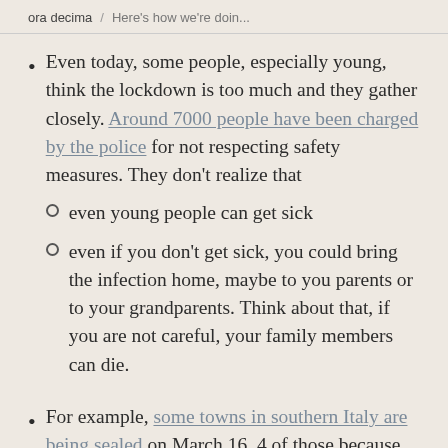ora decima / Here's how we're doin...
Even today, some people, especially young, think the lockdown is too much and they gather closely. Around 7000 people have been charged by the police for not respecting safety measures. They don't realize that
even young people can get sick
even if you don't get sick, you could bring the infection home, maybe to you parents or to your grandparents. Think about that, if you are not careful, your family members can die.
For example, some towns in southern Italy are being sealed on March 16, 4 of those because of a religious ritual in which people drank from the same chalice. All churches stopped religious functions since March 8 in all Italy, even though churches remain open...